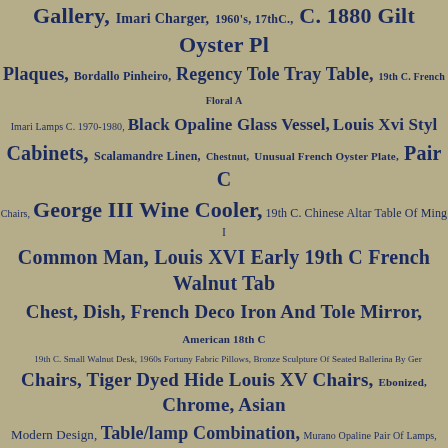Gallery, Imari Charger, 1960's, 17thC., C. 1880 Gilt Oyster Plaques, Bordallo Pinheiro, Regency Tole Tray Table, 19th C. French Floral A Imari Lamps C. 1970-1980, Black Opaline Glass Vessel, Louis Xvi Style Cabinets, Scalamandre Linen, Chestnut, Unusual French Oyster Plate, Pair Chairs, George III Wine Cooler, 19th C. Chinese Altar Table Of Ming Common Man, Louis XVI Early 19th C French Walnut Table Chest, Dish, French Deco Iron And Tole Mirror, American 18th C 19th C. Small Walnut Desk, 1960s Fortuny Fabric Pillows, Bronze Sculpture Of Seated Ballerina By Ger Chairs, Tiger Dyed Hide Louis XV Chairs, Ebonized, Chrome, Asian Modern Design, Table/lamp Combination, Murano Opaline Pair Of Lamps, Lacquer, Lamps, REGENCY INLAID ROSEWOOD DINING CHAIRS Klismos Early melagrana Pattern, Mid-19th C. French Wine Tasting Table, Botke, Boston Spherical Ships Compass, Mid-century Art, Pair Famille Noire Beaded Pagodas, Mexican Sterling Silver Necklace With Amethyst James Mont, Gold Leaf Frame, Faux Sapphire Brooch, Diamond Tufted Mid- Sofa In Tweed, 18th C., Hand Painted Royal Copenhagen, Art Nouveau Vestment, Pair Late 19th C. Rose Canton Candlesticks, Campaign Bed, Large Antique French Ticking And Belgium Linen Pillows, Inlaid 18th Venetian Martini Glass, Aldo Tura Mid-century Goatskin Bar Cart, William Rustic French Farm Bench, Period Louis Xvi Drop Front Secretary Drawers, Mexican Sterling Silver Necklace, Oil Painting, 18th C. Giovanni Mahogany Daybed, Carol Jablonsky Lithograph, Aztec Symbols, Jac Carved Gilt Oyster Inlaid Mirror, Pair Deco Del Cotto